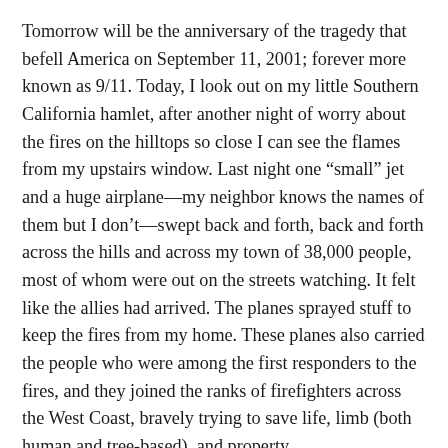Tomorrow will be the anniversary of the tragedy that befell America on September 11, 2001; forever more known as 9/11. Today, I look out on my little Southern California hamlet, after another night of worry about the fires on the hilltops so close I can see the flames from my upstairs window. Last night one “small” jet and a huge airplane—my neighbor knows the names of them but I don’t—swept back and forth, back and forth across the hills and across my town of 38,000 people, most of whom were out on the streets watching. It felt like the allies had arrived. The planes sprayed stuff to keep the fires from my home. These planes also carried the people who were among the first responders to the fires, and they joined the ranks of firefighters across the West Coast, bravely trying to save life, limb (both human and tree-based), and property.